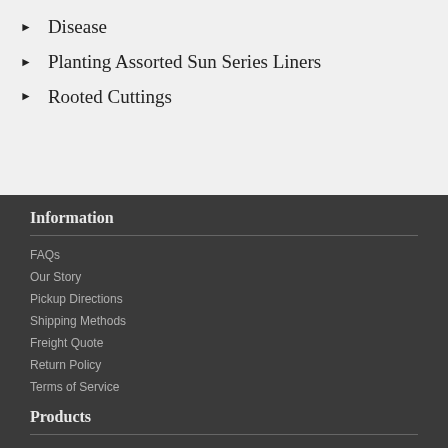Disease
Planting Assorted Sun Series Liners
Rooted Cuttings
Information
FAQs
Our Story
Pickup Directions
Shipping Methods
Freight Quote
Return Policy
Terms of Service
Products